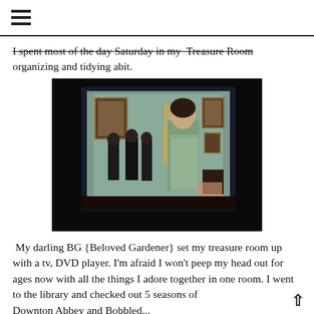☰ (menu icon)
I spent most of the day Saturday in my  Treasure Room organizing and tidying abit.
[Figure (photo): A dark room with a large television screen showing a period drama scene (Downton Abbey style) with elegantly dressed characters in a grand interior setting. The TV is visible in a dimly lit room.]
My darling BG {Beloved Gardener} set my treasure room up with a tv, DVD player. I'm afraid I won't peep my head out for ages now with all the things I adore together in one room. I went to the library and checked out 5 seasons of Downton Abbey and Bobbled...